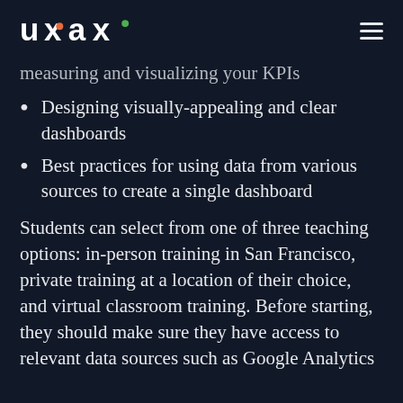UXAX
measuring and visualizing your KPIs
Designing visually-appealing and clear dashboards
Best practices for using data from various sources to create a single dashboard
Students can select from one of three teaching options: in-person training in San Francisco, private training at a location of their choice, and virtual classroom training. Before starting, they should make sure they have access to relevant data sources such as Google Analytics